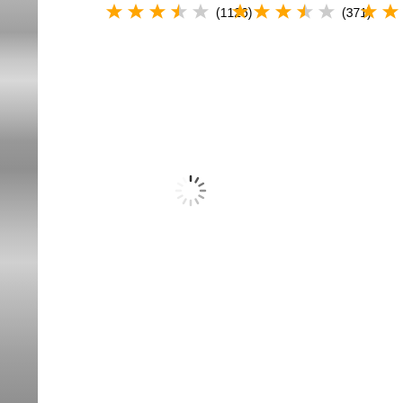[Figure (screenshot): Screenshot of a webpage showing product ratings with star ratings (3.5 stars out of 5) and review counts (1126) and (371), with loading spinner icons in the center and lower right of the white content area. A strip on the left shows a blurred gray-scale photo.]
(1126)
(371)